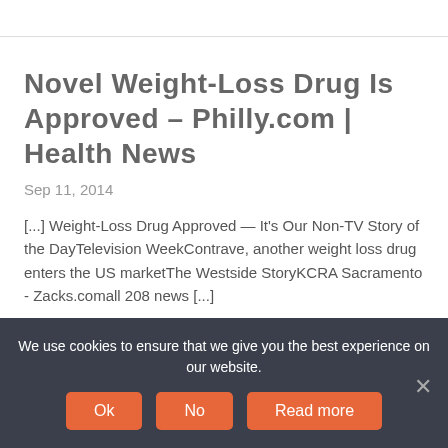Novel Weight-Loss Drug Is Approved – Philly.com | Health News
Sep 11, 2014
[...] Weight-Loss Drug Approved — It's Our Non-TV Story of the DayTelevision WeekContrave, another weight loss drug enters the US marketThe Westside StoryKCRA Sacramento - Zacks.comall 208 news [...]
REPLY
We use cookies to ensure that we give you the best experience on our website.